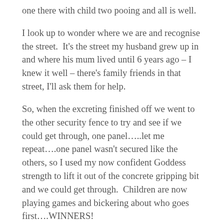one there with child two pooing and all is well.
I look up to wonder where we are and recognise the street.  It's the street my husband grew up in and where his mum lived until 6 years ago – I knew it well – there's family friends in that street, I'll ask them for help.
So, when the excreting finished off we went to the other security fence to try and see if we could get through, one panel…..let me repeat….one panel wasn't secured like the others, so I used my now confident Goddess strength to lift it out of the concrete gripping bit and we could get through.  Children are now playing games and bickering about who goes first….WINNERS!
We get to the house with the lights on, missed by one,